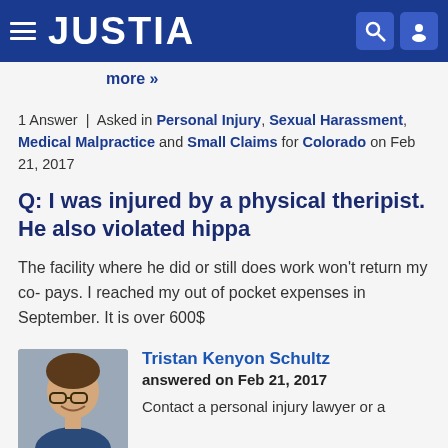JUSTIA
more »
1 Answer | Asked in Personal Injury, Sexual Harassment, Medical Malpractice and Small Claims for Colorado on Feb 21, 2017
Q: I was injured by a physical theripist. He also violated hippa
The facility where he did or still does work won't return my co- pays. I reached my out of pocket expenses in September. It is over 600$
Tristan Kenyon Schultz
answered on Feb 21, 2017
Contact a personal injury lawyer or a